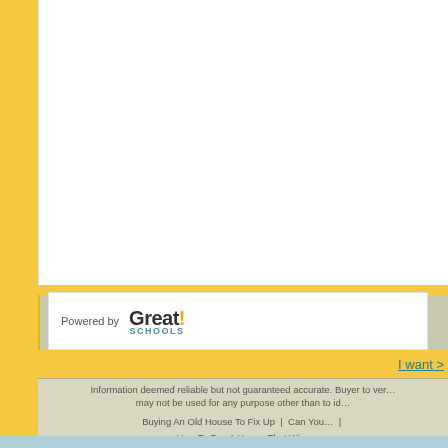[Figure (logo): Powered by GreatSchools logo banner]
I want …
Information deemed reliable but not guaranteed accurate. Buyer to verify. may not be used for any purpose other than to id…
Buying An Old House To Fix Up | Can You… | How To Buy A House That Wi…
Hickory Hills Houses For Sale | Bridgeview Hous…
Willow Springs Houses For Sale | Chicago Ridge…
Oak Lawn Houses For Sale | Summit Houses For Sa…
Countryside Houses For Sale | Indi…
© 2022 www.housesforsale.com.vc | Privacy | Ter…